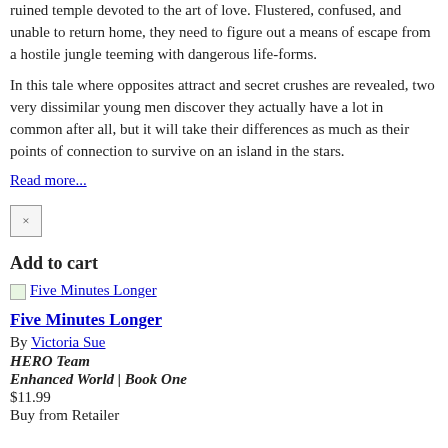ruined temple devoted to the art of love. Flustered, confused, and unable to return home, they need to figure out a means of escape from a hostile jungle teeming with dangerous life-forms.
In this tale where opposites attract and secret crushes are revealed, two very dissimilar young men discover they actually have a lot in common after all, but it will take their differences as much as their points of connection to survive on an island in the stars.
Read more...
[Figure (other): Close button (×)]
Add to cart
[Figure (other): Thumbnail image link for Five Minutes Longer]
Five Minutes Longer
By Victoria Sue
HERO Team
Enhanced World | Book One
$11.99
Buy from Retailer